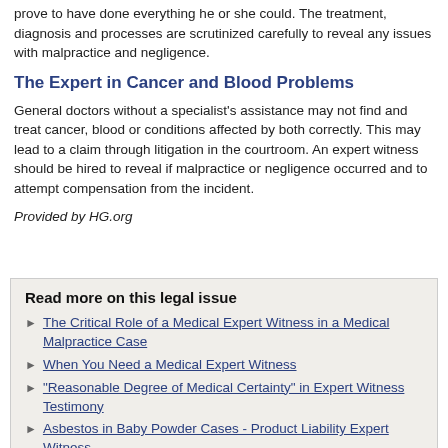prove to have done everything he or she could. The treatment, diagnosis and processes are scrutinized carefully to reveal any issues with malpractice and negligence.
The Expert in Cancer and Blood Problems
General doctors without a specialist’s assistance may not find and treat cancer, blood or conditions affected by both correctly. This may lead to a claim through litigation in the courtroom. An expert witness should be hired to reveal if malpractice or negligence occurred and to attempt compensation from the incident.
Provided by HG.org
Read more on this legal issue
The Critical Role of a Medical Expert Witness in a Medical Malpractice Case
When You Need a Medical Expert Witness
"Reasonable Degree of Medical Certainty" in Expert Witness Testimony
Asbestos in Baby Powder Cases - Product Liability Expert Witness